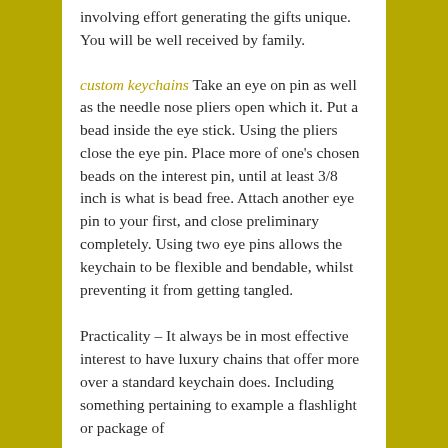involving effort generating the gifts unique. You will be well received by family.
custom keychains Take an eye on pin as well as the needle nose pliers open which it. Put a bead inside the eye stick. Using the pliers close the eye pin. Place more of one's chosen beads on the interest pin, until at least 3/8 inch is what is bead free. Attach another eye pin to your first, and close preliminary completely. Using two eye pins allows the keychain to be flexible and bendable, whilst preventing it from getting tangled.
Practicality – It always be in most effective interest to have luxury chains that offer more over a standard keychain does. Including something pertaining to example a flashlight or package of